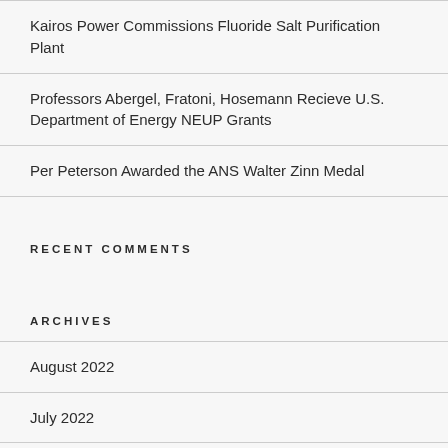Kairos Power Commissions Fluoride Salt Purification Plant
Professors Abergel, Fratoni, Hosemann Recieve U.S. Department of Energy NEUP Grants
Per Peterson Awarded the ANS Walter Zinn Medal
RECENT COMMENTS
ARCHIVES
August 2022
July 2022